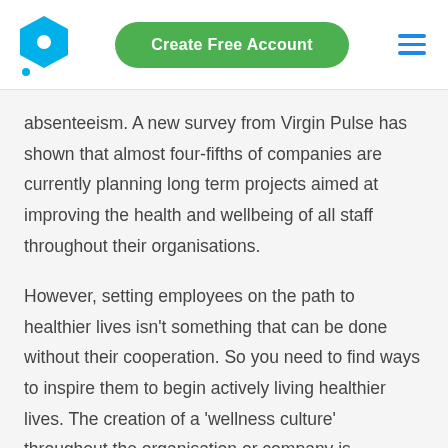Create Free Account
absenteeism. A new survey from Virgin Pulse has shown that almost four-fifths of companies are currently planning long term projects aimed at improving the health and wellbeing of all staff throughout their organisations.
However, setting employees on the path to healthier lives isn't something that can be done without their cooperation. So you need to find ways to inspire them to begin actively living healthier lives. The creation of a 'wellness culture' throughout the organisation or company is paramount and this can be achieved via several